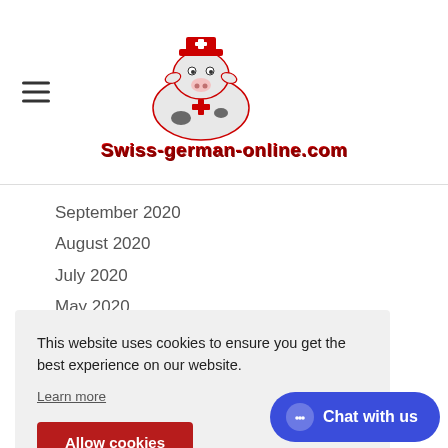[Figure (logo): Swiss-german-online.com logo with cartoon cow wearing a doctor hat and Swiss cross]
September 2020
August 2020
July 2020
May 2020
April 2020
February 2020
January 2020
December 2019
This website uses cookies to ensure you get the best experience on our website.
Learn more
Allow cookies
December 2018